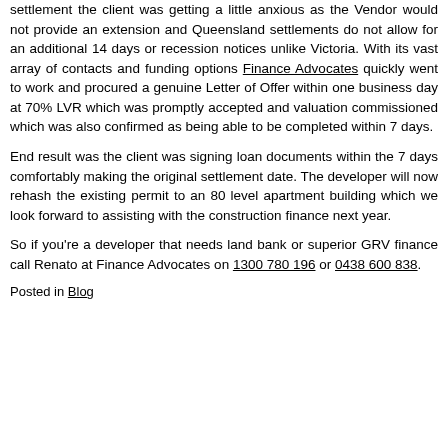settlement the client was getting a little anxious as the Vendor would not provide an extension and Queensland settlements do not allow for an additional 14 days or recession notices unlike Victoria. With its vast array of contacts and funding options Finance Advocates quickly went to work and procured a genuine Letter of Offer within one business day at 70% LVR which was promptly accepted and valuation commissioned which was also confirmed as being able to be completed within 7 days.
End result was the client was signing loan documents within the 7 days comfortably making the original settlement date. The developer will now rehash the existing permit to an 80 level apartment building which we look forward to assisting with the construction finance next year.
So if you're a developer that needs land bank or superior GRV finance call Renato at Finance Advocates on 1300 780 196 or 0438 600 838.
Posted in Blog